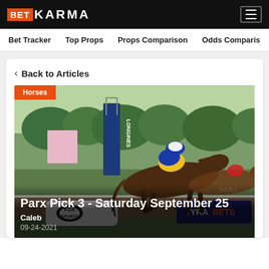BET KARMA
Bet Tracker  Top Props  Props Comparison  Odds Comparison
< Back to Articles
[Figure (photo): Horse racing photo at Saratoga racetrack. A jockey in blue and yellow silks rides a brown thoroughbred at full gallop. FOX Sports and NYRA BETS advertising boards visible. LONGINES signage in background. 'Horses' category badge overlay in orange/red at top left.]
Parx Pick 3 - Saturday September 25
Caleb
09-24-2021